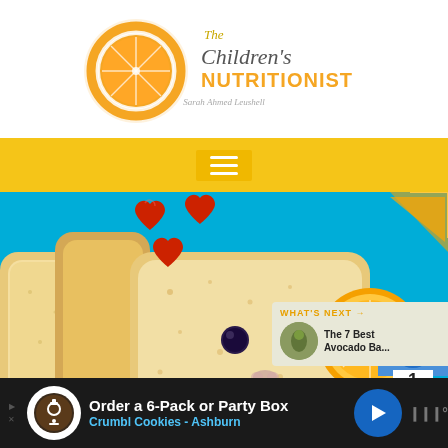[Figure (logo): The Children's Nutritionist logo with orange slice and script text 'Sarah Ahmed Leushell']
[Figure (photo): Food art photo on a teal background showing a bread slice face made with blueberries, heart-shaped strawberries, orange slices on a teal/blue background]
1
WHAT'S NEXT → The 7 Best Avocado Ba...
Order a 6-Pack or Party Box Crumbl Cookies - Ashburn